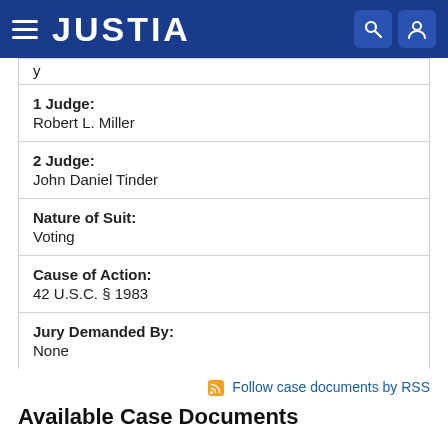JUSTIA
1 Judge:
Robert L. Miller
2 Judge:
John Daniel Tinder
Nature of Suit:
Voting
Cause of Action:
42 U.S.C. § 1983
Jury Demanded By:
None
Follow case documents by RSS
Available Case Documents